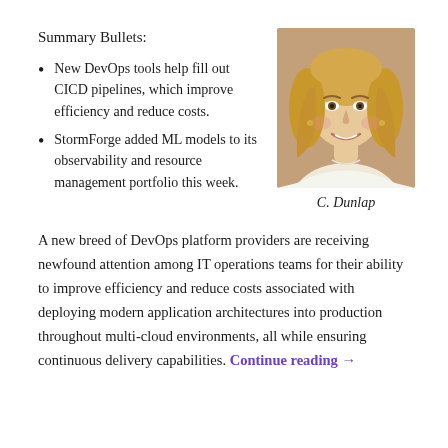Summary Bullets:
New DevOps tools help fill out CICD pipelines, which improve efficiency and reduce costs.
StormForge added ML models to its observability and resource management portfolio this week.
[Figure (photo): Headshot of a smiling blonde woman]
C. Dunlap
A new breed of DevOps platform providers are receiving newfound attention among IT operations teams for their ability to improve efficiency and reduce costs associated with deploying modern application architectures into production throughout multi-cloud environments, all while ensuring continuous delivery capabilities. Continue reading →